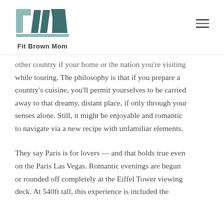Fit Brown Mom
other country if your home or the nation you’re visiting while touring. The philosophy is that if you prepare a country’s cuisine, you’ll permit yourselves to be carried away to that dreamy, distant place, if only through your senses alone. Still, it might be enjoyable and romantic to navigate via a new recipe with unfamiliar elements.
They say Paris is for lovers — and that holds true even on the Paris Las Vegas. Romantic evenings are begun or rounded off completely at the Eiffel Tower viewing deck. At 540ft tall, this experience is included the